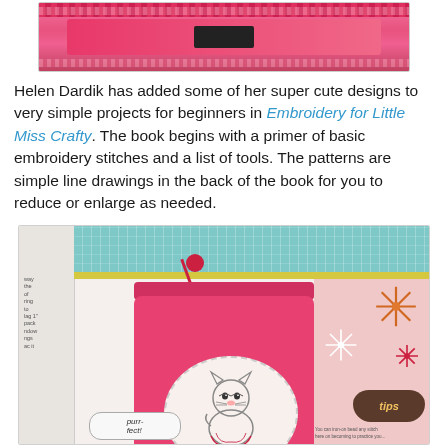[Figure (photo): A pink embroidery kit or bookmark with decorative dotted edges and a black label/tag in the center, photographed from above.]
Helen Dardik has added some of her super cute designs to very simple projects for beginners in Embroidery for Little Miss Crafty. The book begins with a primer of basic embroidery stitches and a list of tools. The patterns are simple line drawings in the back of the book for you to reduce or enlarge as needed.
[Figure (photo): An open book spread showing a pink drawstring bag with an embroidered oval patch depicting a cartoon cat/pig in a tutu. The bag has a red drawstring. The book page shows teal cross-stitch fabric at the top and a right-hand pink page with starburst decorations and a dark brown 'tips' badge. A speech bubble at the bottom reads 'purr-fect!']